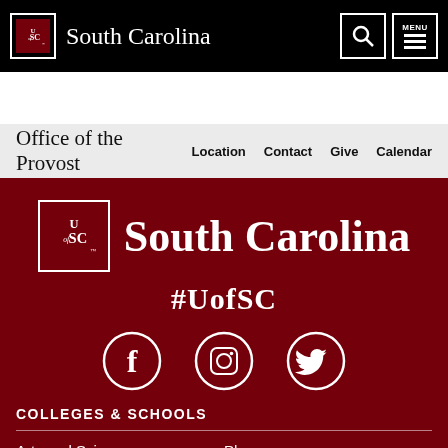UofSC South Carolina
Office of the Provost
Location  Contact  Give  Calendar
[Figure (logo): University of South Carolina logo with UofSC text in a box and South Carolina wordmark beside it, white on dark red background]
#UofSC
[Figure (infographic): Social media icons: Facebook, Instagram, Twitter — white circle outlines on dark red background]
COLLEGES & SCHOOLS
Arts and Sciences
Pharmacy
Business
Public Health